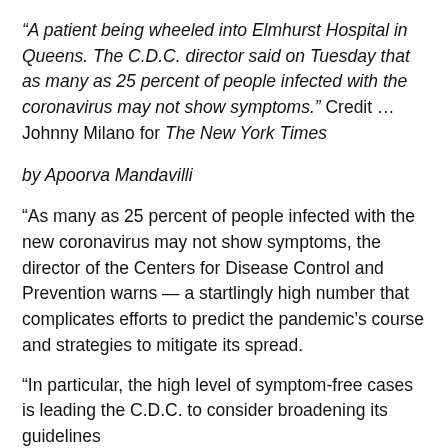“A patient being wheeled into Elmhurst Hospital in Queens. The C.D.C. director said on Tuesday that as many as 25 percent of people infected with the coronavirus may not show symptoms.” Credit … Johnny Milano for The New York Times
by Apoorva Mandavilli
“As many as 25 percent of people infected with the new coronavirus may not show symptoms, the director of the Centers for Disease Control and Prevention warns — a startlingly high number that complicates efforts to predict the pandemic’s course and strategies to mitigate its spread.
“In particular, the high level of symptom-free cases is leading the C.D.C. to consider broadening its guidelines